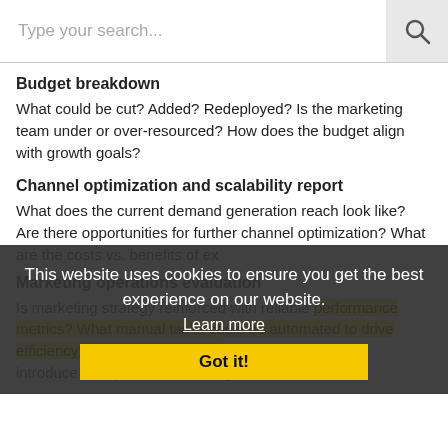Type your search...
Budget breakdown
What could be cut? Added? Redeployed? Is the marketing team under or over-resourced? How does the budget align with growth goals?
Channel optimization and scalability report
What does the current demand generation reach look like? Are there opportunities for further channel optimization? What are the costs vs. benefits of ex...
Marketing operations evaluation
Is marketing strategy reinforced with reliable performance metrics? What manual tasks could be automated to drive efficiency? What tech could we introduce to improve scale and growth?
This website uses cookies to ensure you get the best experience on our website. Learn more Got it!